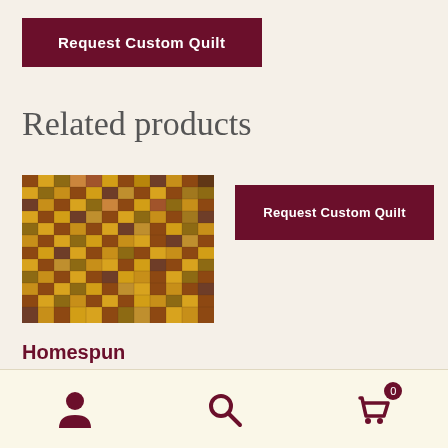Request Custom Quilt
Related products
[Figure (photo): Photograph of a homespun plaid squares quilt with a geometric pattern of small squares in brown, gold, red, and earth tones arranged in a grid pattern.]
Request Custom Quilt
Homespun Plaid Squares Quilt